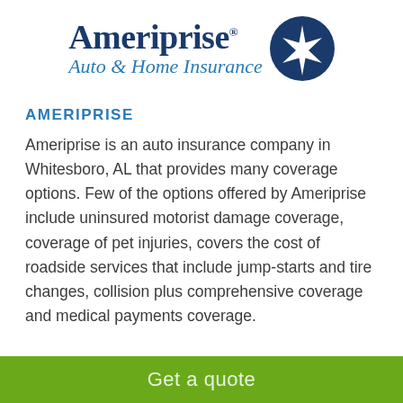[Figure (logo): Ameriprise Auto & Home Insurance logo with dark blue circle containing a white star/asterisk shape on the right, and the text 'Ameriprise' in dark navy serif font with 'Auto & Home Insurance' in blue italic serif below]
AMERIPRISE
Ameriprise is an auto insurance company in Whitesboro, AL that provides many coverage options. Few of the options offered by Ameriprise include uninsured motorist damage coverage, coverage of pet injuries, covers the cost of roadside services that include jump-starts and tire changes, collision plus comprehensive coverage and medical payments coverage.
Get a quote